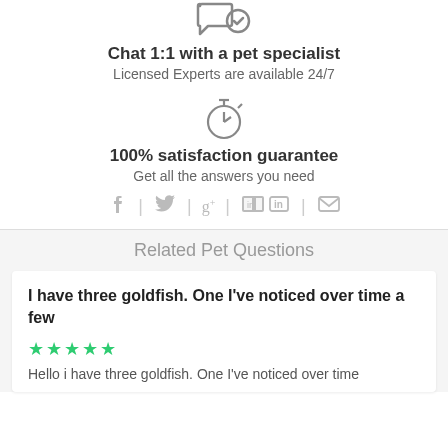[Figure (illustration): Chat bubble with checkmark icon]
Chat 1:1 with a pet specialist
Licensed Experts are available 24/7
[Figure (illustration): Stopwatch/timer icon]
100% satisfaction guarantee
Get all the answers you need
[Figure (illustration): Social sharing icons: Facebook, Twitter, Google+, LinkedIn, Email]
Related Pet Questions
I have three goldfish. One I've noticed over time a few
[Figure (illustration): Five green stars rating]
Hello i have three goldfish. One I've noticed over time